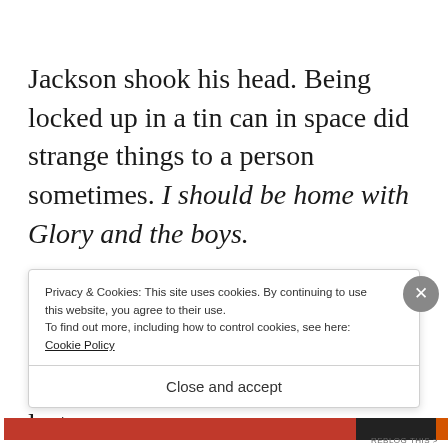Jackson shook his head. Being locked up in a tin can in space did strange things to a person sometimes. I should be home with Glory and the boys.
One way or another, this mission would be his last.
Privacy & Cookies: This site uses cookies. By continuing to use this website, you agree to their use. To find out more, including how to control cookies, see here: Cookie Policy
Close and accept